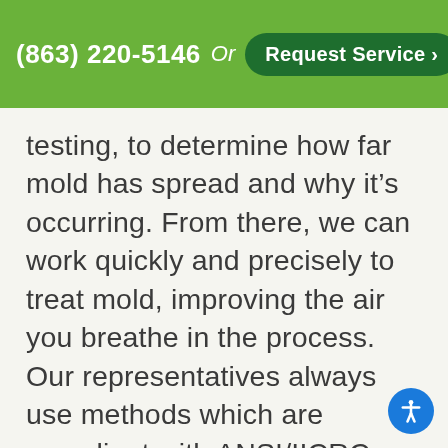(863) 220-5146  Or  Request Service >
testing, to determine how far mold has spread and why it’s occurring. From there, we can work quickly and precisely to treat mold, improving the air you breathe in the process. Our representatives always use methods which are compliant with ANSI/IICRC standards and other national guidelines. We even provide a final mold test after treatment to ensure your complete satisfaction.